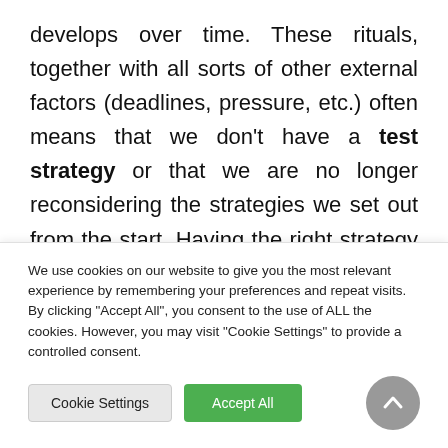develops over time. These rituals, together with all sorts of other external factors (deadlines, pressure, etc.) often means that we don't have a test strategy or that we are no longer reconsidering the strategies we set out from the start. Having the right strategy in testing is important to stay as efficient and effective as you can be. The RiskStorming session format is a wonderful way
We use cookies on our website to give you the most relevant experience by remembering your preferences and repeat visits. By clicking "Accept All", you consent to the use of ALL the cookies. However, you may visit "Cookie Settings" to provide a controlled consent.